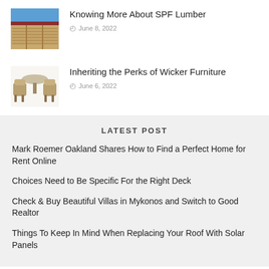[Figure (photo): Stacked lumber inside a warehouse with a blue sky visible]
Knowing More About SPF Lumber
June 8, 2022
[Figure (photo): Wicker furniture set with round glass table and chairs]
Inheriting the Perks of Wicker Furniture
June 6, 2022
LATEST POST
Mark Roemer Oakland Shares How to Find a Perfect Home for Rent Online
Choices Need to Be Specific For the Right Deck
Check & Buy Beautiful Villas in Mykonos and Switch to Good Realtor
Things To Keep In Mind When Replacing Your Roof With Solar Panels